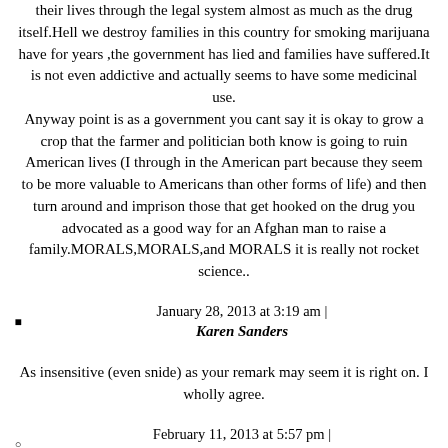their lives through the legal system almost as much as the drug itself.Hell we destroy families in this country for smoking marijuana have for years ,the government has lied and families have suffered.It is not even addictive and actually seems to have some medicinal use. Anyway point is as a government you cant say it is okay to grow a crop that the farmer and politician both know is going to ruin American lives (I through in the American part because they seem to be more valuable to Americans than other forms of life) and then turn around and imprison those that get hooked on the drug you advocated as a good way for an Afghan man to raise a family.MORALS,MORALS,and MORALS it is really not rocket science..
January 28, 2013 at 3:19 am |
Karen Sanders
As insensitive (even snide) as your remark may seem it is right on. I wholly agree.
February 11, 2013 at 5:57 pm |
purple_tiger